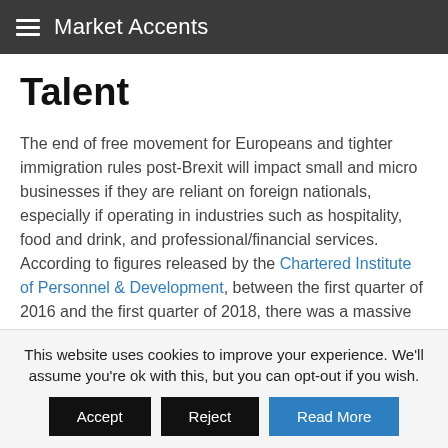Market Accents
Talent
The end of free movement for Europeans and tighter immigration rules post-Brexit will impact small and micro businesses if they are reliant on foreign nationals, especially if operating in industries such as hospitality, food and drink, and professional/financial services. According to figures released by the Chartered Institute of Personnel & Development, between the first quarter of 2016 and the first quarter of 2018, there was a massive 95% fall in EU nationals joining the UK workforce. During 2018, many
This website uses cookies to improve your experience. We'll assume you're ok with this, but you can opt-out if you wish.